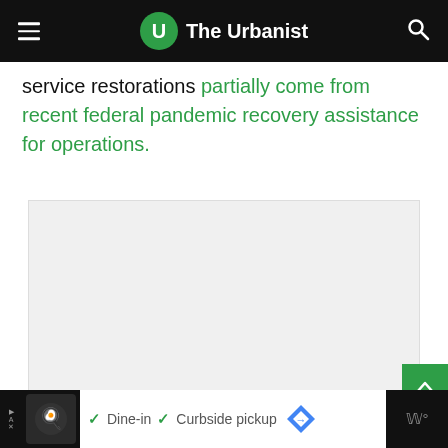The Urbanist
service restorations partially come from recent federal pandemic recovery assistance for operations.
[Figure (other): Embedded image placeholder (light gray rectangle)]
Ad — Dine-in  Curbside pickup